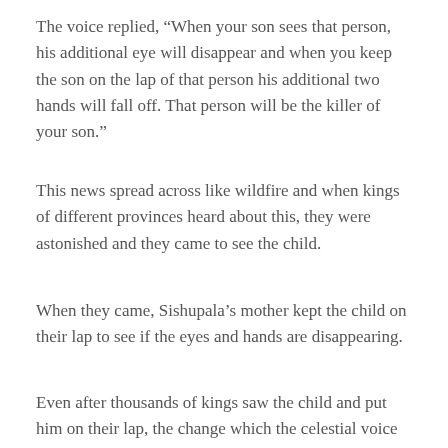The voice replied, “When your son sees that person, his additional eye will disappear and when you keep the son on the lap of that person his additional two hands will fall off. That person will be the killer of your son.”
This news spread across like wildfire and when kings of different provinces heard about this, they were astonished and they came to see the child.
When they came, Sishupala’s mother kept the child on their lap to see if the eyes and hands are disappearing.
Even after thousands of kings saw the child and put him on their lap, the change which the celestial voice said did not